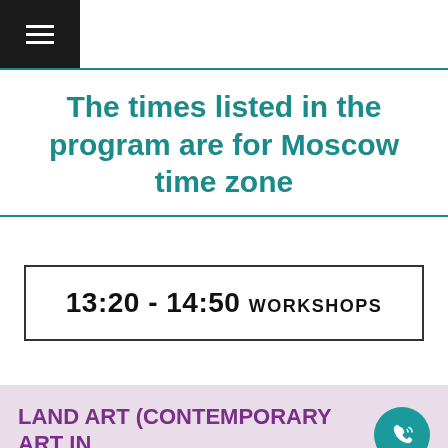The times listed in the program are for Moscow time zone
13:20 - 14:50 WORKSHOPS
LAND ART (CONTEMPORARY ART IN ENVIRONMENT): OPPORTUNITIES FOR